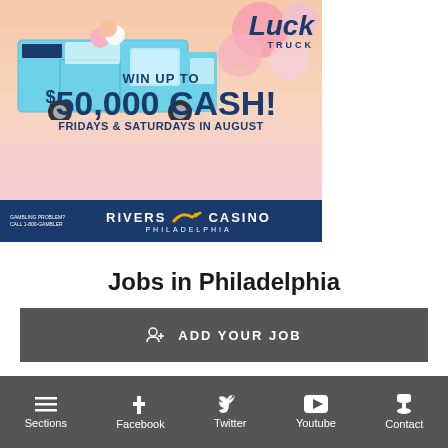[Figure (illustration): Rivers Casino Philadelphia advertisement banner featuring an ice cream truck with 'Luck Truck' text, 'WIN UP TO $50,000 CASH!', 'FRIDAYS & SATURDAYS IN AUGUST', and Rivers Casino Philadelphia logo on dark blue background.]
Jobs in Philadelphia
ADD YOUR JOB
Rittenhouse Appraisals
Sections  Facebook  Twitter  Youtube  Contact